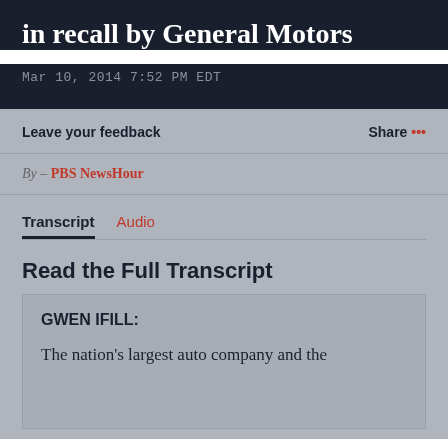in recall by General Motors
Mar 10, 2014 7:52 PM EDT
Leave your feedback
Share ...
By – PBS NewsHour
Transcript   Audio
Read the Full Transcript
GWEN IFILL:
The nation's largest auto company and the